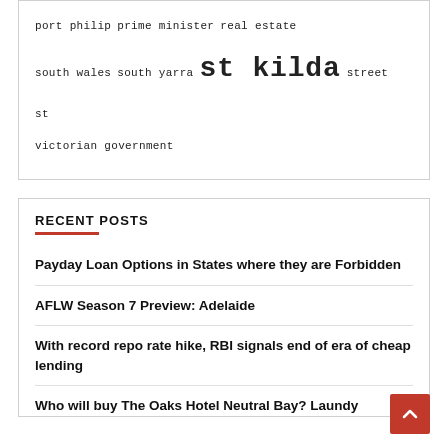port philip  prime minister  real estate  south wales  south yarra  st kilda  street st  victorian government
RECENT POSTS
Payday Loan Options in States where they are Forbidden
AFLW Season 7 Preview: Adelaide
With record repo rate hike, RBI signals end of era of cheap lending
Who will buy The Oaks Hotel Neutral Bay? Laundy